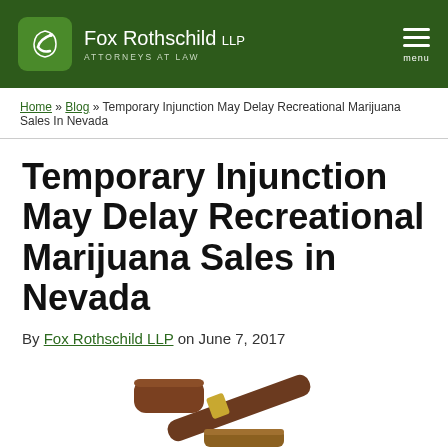Fox Rothschild LLP — ATTORNEYS AT LAW
Home » Blog » Temporary Injunction May Delay Recreational Marijuana Sales In Nevada
Temporary Injunction May Delay Recreational Marijuana Sales in Nevada
By Fox Rothschild LLP on June 7, 2017
[Figure (photo): A judge's gavel resting on a wooden block, brown wooden handle with gold band, partial view cropped at bottom of page]